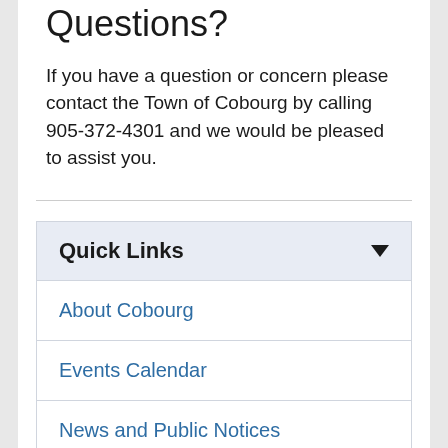Questions?
If you have a question or concern please contact the Town of Cobourg by calling 905-372-4301 and we would be pleased to assist you.
About Cobourg
Events Calendar
News and Public Notices
Maps